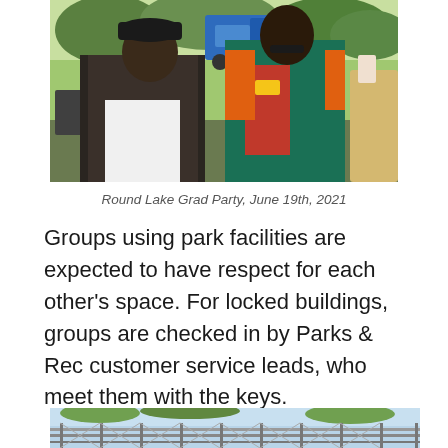[Figure (photo): Two men standing together outdoors smiling, one wearing a plaid jacket and white shirt, the other wearing a colorful green, red and orange jersey. A blue truck and green trees are visible in the background.]
Round Lake Grad Party, June 19th, 2021
Groups using park facilities are expected to have respect for each other's space. For locked buildings, groups are checked in by Parks & Rec customer service leads, who meet them with the keys.
[Figure (photo): Outdoor scene showing a chain-link fence with sky and trees in the background.]